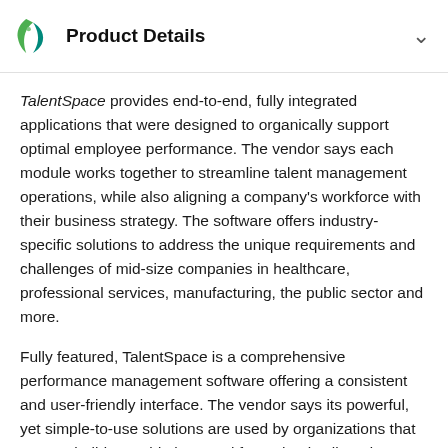Product Details
TalentSpace provides end-to-end, fully integrated applications that were designed to organically support optimal employee performance. The vendor says each module works together to streamline talent management operations, while also aligning a company's workforce with their business strategy. The software offers industry-specific solutions to address the unique requirements and challenges of mid-size companies in healthcare, professional services, manufacturing, the public sector and more.
Fully featured, TalentSpace is a comprehensive performance management software offering a consistent and user-friendly interface. The vendor says its powerful, yet simple-to-use solutions are used by organizations that want to build a world-class workforce that is aligned,